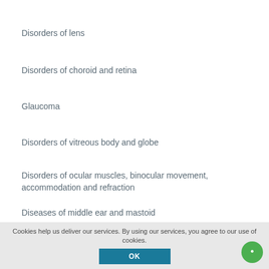Disorders of lens
Disorders of choroid and retina
Glaucoma
Disorders of vitreous body and globe
Disorders of ocular muscles, binocular movement, accommodation and refraction
Diseases of middle ear and mastoid
Diseases of inner ear
Other disorders of ear
Cookies help us deliver our services. By using our services, you agree to our use of cookies.